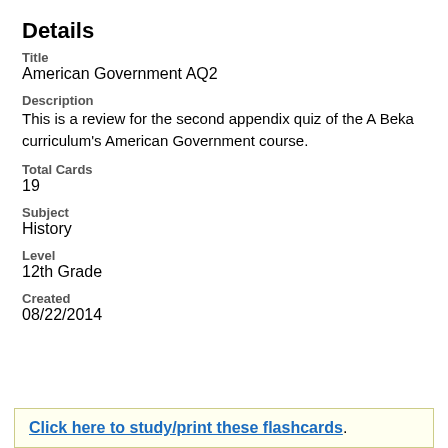Details
Title
American Government AQ2
Description
This is a review for the second appendix quiz of the A Beka curriculum's American Government course.
Total Cards
19
Subject
History
Level
12th Grade
Created
08/22/2014
Click here to study/print these flashcards.